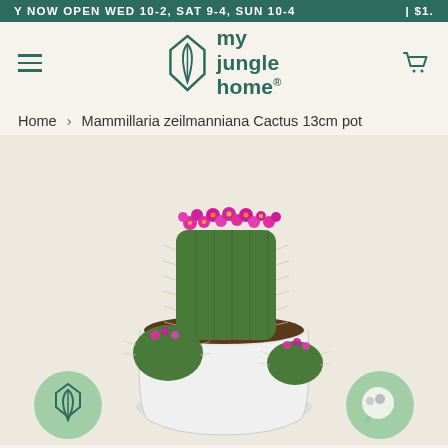Y NOW OPEN WED 10-2, SAT 9-4, SUN 10-4  |  $1.
[Figure (logo): my jungle home logo with a stylized leaf/shield icon and the text 'my jungle home' in dark teal]
Home › Mammillaria zeilmanniana Cactus 13cm pot
[Figure (photo): A Mammillaria zeilmanniana cactus in a white ceramic pot with pink flowers blooming across the top, photographed against a light background. Two circular green buttons overlay the bottom corners of the image.]